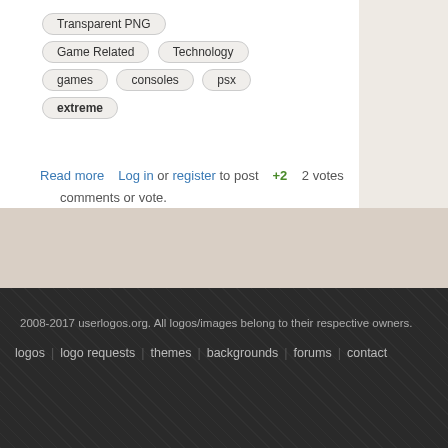Transparent PNG | Game Related | Technology | games | consoles | psx | extreme
Read more   Log in or register to post comments or vote.   +2   2 votes
[Figure (other): RSS feed icon - orange square with white RSS symbol]
2008-2017 userlogos.org. All logos/images belong to their respective owners.
logos | logo requests | themes | backgrounds | forums | contact